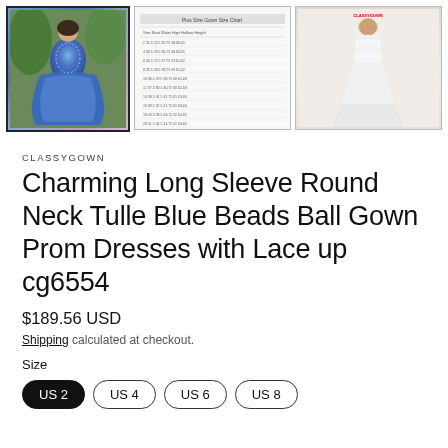[Figure (photo): Three thumbnail images: a blue ball gown dress, a size chart table, and a model wearing a white gown]
CLASSYGOWN
Charming Long Sleeve Round Neck Tulle Blue Beads Ball Gown Prom Dresses with Lace up cg6554
$189.56 USD
Shipping calculated at checkout.
Size
US 2
US 4
US 6
US 8